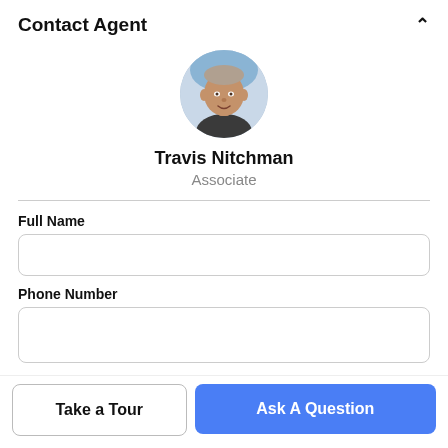Contact Agent
[Figure (photo): Circular profile photo of Travis Nitchman, a man facing the camera outdoors]
Travis Nitchman
Associate
Full Name
Phone Number
Email Address
Take a Tour
Ask A Question